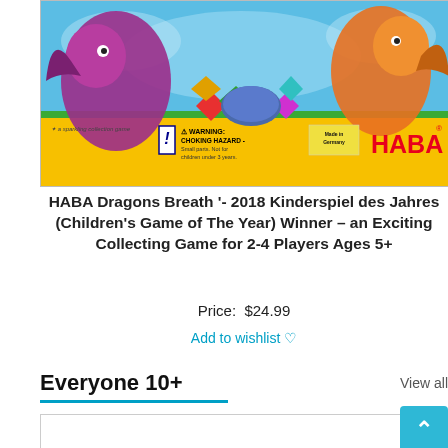[Figure (photo): Product box image of HABA Dragons Breath board game showing cartoon dragons and colorful gems on a yellow box with warning label and HABA logo]
HABA Dragons Breath '- 2018 Kinderspiel des Jahres (Children's Game of The Year) Winner – an Exciting Collecting Game for 2-4 Players Ages 5+
Price:  $24.99
Add to wishlist ♡
Everyone 10+
View all